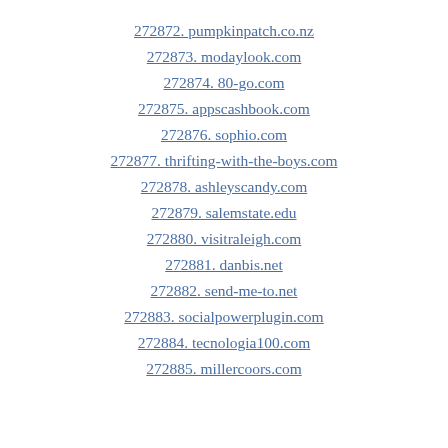272872. pumpkinpatch.co.nz
272873. modaylook.com
272874. 80-go.com
272875. appscashbook.com
272876. sophio.com
272877. thrifting-with-the-boys.com
272878. ashleyscandy.com
272879. salemstate.edu
272880. visitraleigh.com
272881. danbis.net
272882. send-me-to.net
272883. socialpowerplugin.com
272884. tecnologia100.com
272885. millercoors.com